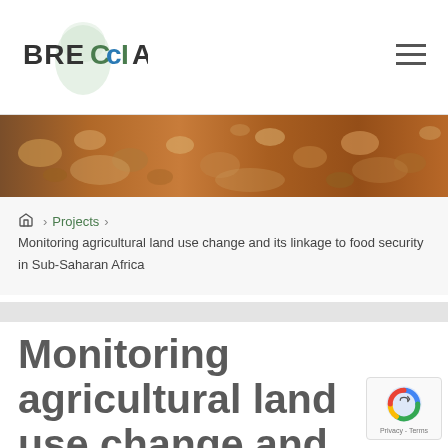BRECCIA
[Figure (photo): A rocky dry landscape with reddish-brown soil and rocks, hero banner image for the BRECCIA website.]
Home > Projects > Monitoring agricultural land use change and its linkage to food security in Sub-Saharan Africa
Monitoring agricultural land use change and